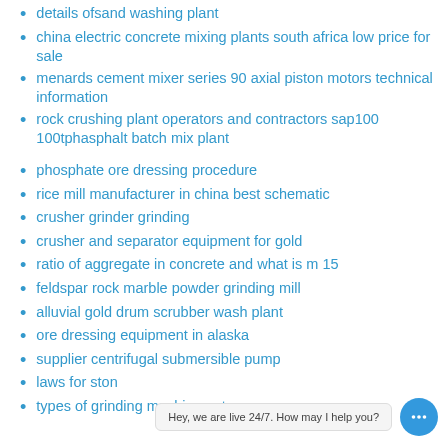details ofsand washing plant
china electric concrete mixing plants south africa low price for sale
menards cement mixer series 90 axial piston motors technical information
rock crushing plant operators and contractors sap100 100tphasphalt batch mix plant
phosphate ore dressing procedure
rice mill manufacturer in china best schematic
crusher grinder grinding
crusher and separator equipment for gold
ratio of aggregate in concrete and what is m 15
feldspar rock marble powder grinding mill
alluvial gold drum scrubber wash plant
ore dressing equipment in alaska
supplier centrifugal submersible pump
laws for ston
types of grinding machine ppt
Hey, we are live 24/7. How may I help you?